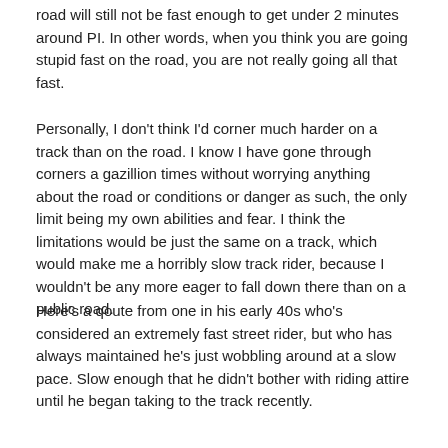road will still not be fast enough to get under 2 minutes around PI. In other words, when you think you are going stupid fast on the road, you are not really going all that fast.
Personally, I don't think I'd corner much harder on a track than on the road. I know I have gone through corners a gazillion times without worrying anything about the road or conditions or danger as such, the only limit being my own abilities and fear. I think the limitations would be just the same on a track, which would make me a horribly slow track rider, because I wouldn't be any more eager to fall down there than on a public road.
Here's a qoute from one in his early 40s who's considered an extremely fast street rider, but who has always maintained he's just wobbling around at a slow pace. Slow enough that he didn't bother with riding attire until he began taking to the track recently.